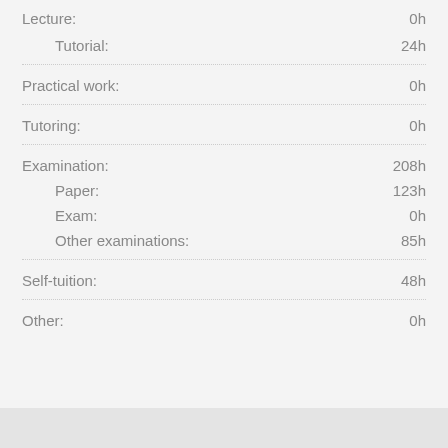Lecture: 0h
Tutorial: 24h
Practical work: 0h
Tutoring: 0h
Examination: 208h
Paper: 123h
Exam: 0h
Other examinations: 85h
Self-tuition: 48h
Other: 0h